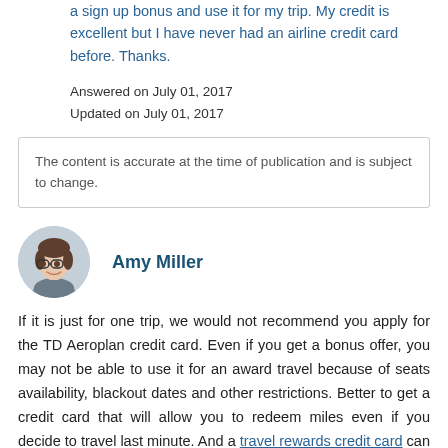a sign up bonus and use it for my trip. My credit is excellent but I have never had an airline credit card before. Thanks.
Answered on July 01, 2017
Updated on July 01, 2017
The content is accurate at the time of publication and is subject to change.
Amy Miller
If it is just for one trip, we would not recommend you apply for the TD Aeroplan credit card. Even if you get a bonus offer, you may not be able to use it for an award travel because of seats availability, blackout dates and other restrictions. Better to get a credit card that will allow you to redeem miles even if you decide to travel last minute. And a travel rewards credit card can give you this freedom and